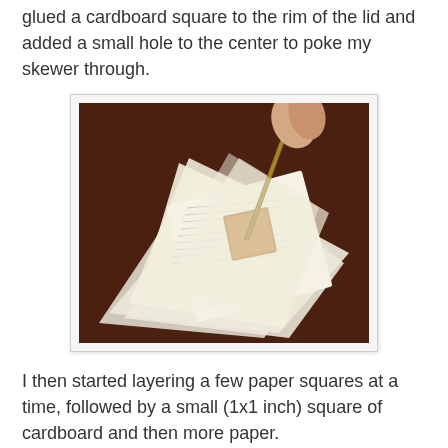glued a cardboard square to the rim of the lid and added a small hole to the center to poke my skewer through.
[Figure (photo): A hand holding a skewer through layered paper squares with a small square cardboard piece visible in the center, on a dark wooden surface.]
I then started layering a few paper squares at a time, followed by a small (1x1 inch) square of cardboard and then more paper.
Make sense?
The small cardboard pieces just separate the layers a bit. Sometimes I layered two in a row and sometimes just a